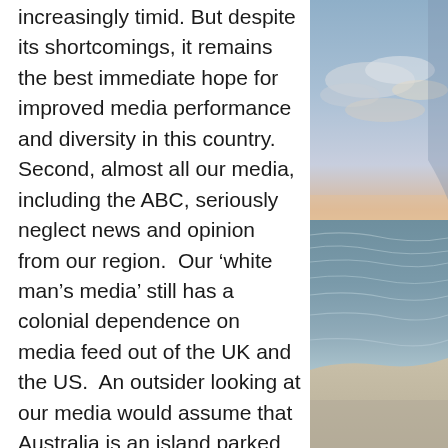increasingly timid. But despite its shortcomings, it remains the best immediate hope for improved media performance and diversity in this country. Second, almost all our media, including the ABC, seriously neglect news and opinion from our region. Our 'white man's media' still has a colonial dependence on media feed out of the UK and the US. An outsider looking at our media would assume that Australia is an island parked off London or New York. So much of Australia's news and views about the region is viewed through a UK or US media lens. Not surprisingly, almost all Australians, including business and political leaders lack an in-depth understanding of our
[Figure (photo): A coastal/beach scene at dusk or dawn with ocean waves and a pastel sky with clouds, viewed from a hillside or cliff.]